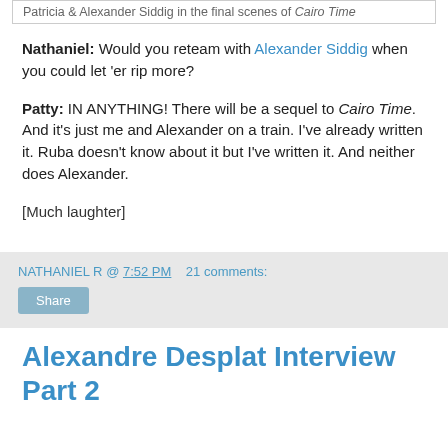Patricia & Alexander Siddig in the final scenes of Cairo Time
Nathaniel: Would you reteam with Alexander Siddig when you could let 'er rip more?
Patty: IN ANYTHING! There will be a sequel to Cairo Time. And it's just me and Alexander on a train. I've already written it. Ruba doesn't know about it but I've written it. And neither does Alexander.
[Much laughter]
NATHANIEL R @ 7:52 PM   21 comments:
Alexandre Desplat Interview Part 2